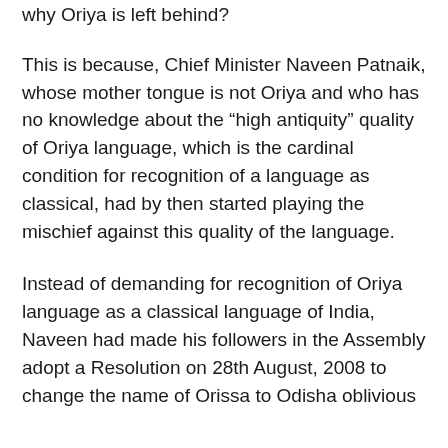why Oriya is left behind?
This is because, Chief Minister Naveen Patnaik, whose mother tongue is not Oriya and who has no knowledge about the “high antiquity” quality of Oriya language, which is the cardinal condition for recognition of a language as classical, had by then started playing the mischief against this quality of the language.
Instead of demanding for recognition of Oriya language as a classical language of India, Naveen had made his followers in the Assembly adopt a Resolution on 28th August, 2008 to change the name of Orissa to Odisha oblivious